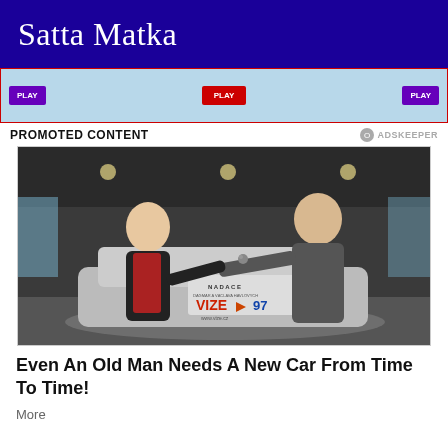Satta Matka
[Figure (other): Ad banner with light blue background, red border, purple and red buttons]
PROMOTED CONTENT
[Figure (photo): Two men exchanging car keys next to a silver car with VIZE 97 Nadace Dagmar a Vaclava Havlovych logo on it, inside a car dealership showroom]
Even An Old Man Needs A New Car From Time To Time!
More